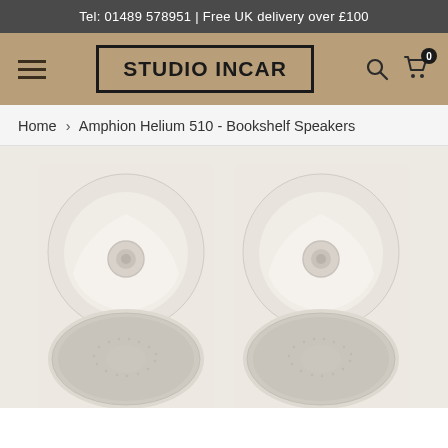Tel: 01489 578951 | Free UK delivery over £100
[Figure (screenshot): Studio Incar website navigation bar with hamburger menu, logo in bordered box, search and cart icons on tan/brown background]
Home > Amphion Helium 510 - Bookshelf Speakers
[Figure (photo): Two Amphion Helium 510 bookshelf speakers side by side, white/cream finish, showing distinctive horn tweeter and woven bass driver cone, photographed from front on light beige background]